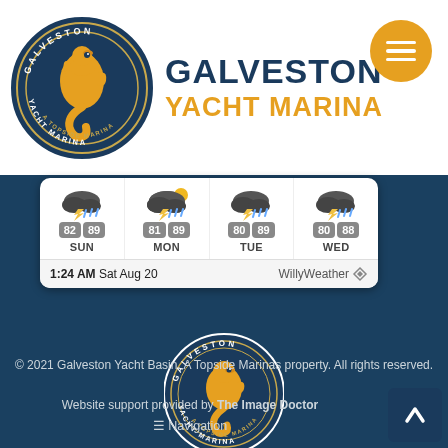[Figure (logo): Galveston Yacht Marina circular logo with seahorse, blue and gold colors]
GALVESTON YACHT MARINA
[Figure (screenshot): Weather widget showing 4-day forecast: SUN 82/89, MON 81/89, TUE 80/89, WED 80/88, with thunderstorm icons. Timestamp: 1:24 AM Sat Aug 20, WillyWeather]
[Figure (logo): Galveston Yacht Marina footer logo, circular with seahorse]
© 2021 Galveston Yacht Basin. A Topside Marinas property. All rights reserved.
Website support provided by The Image Doctor
≡ Navigation